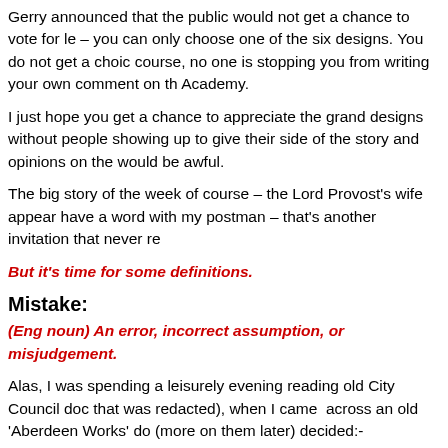Gerry announced that the public would not get a chance to vote for le – you can only choose one of the six designs. You do not get a choic course, no one is stopping you from writing your own comment on th Academy.
I just hope you get a chance to appreciate the grand designs without people showing up to give their side of the story and opinions on the would be awful.
The big story of the week of course – the Lord Provost's wife appear have a word with my postman – that's another invitation that never re
But it's time for some definitions.
Mistake:
(Eng noun) An error, incorrect assumption, or misjudgement.
Alas, I was spending a leisurely evening reading old City Council doc that was redacted), when I came across an old 'Aberdeen Works' do (more on them later) decided:-